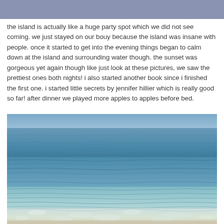[Figure (photo): Blue-grey navigation/header bar at the top of the page]
the island is actually like a huge party spot which we did not see coming. we just stayed on our bouy because the island was insane with people. once it started to get into the evening things began to calm down at the island and surrounding water though. the sunset was gorgeous yet again though like just look at these pictures, we saw the prettiest ones both nights! i also started another book since i finished the first one. i started little secrets by jennifer hillier which is really good so far! after dinner we played more apples to apples before bed.
[Figure (photo): Photograph of clear shallow lake or ocean water with gentle ripples and small waves washing onto shore, blue water with sandy bottom visible]